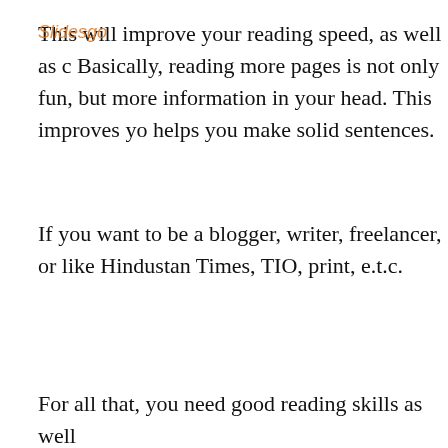This will improve your reading speed, as well as c… Basically, reading more pages is not only fun, but more information in your head. This improves yo… helps you make solid sentences.
If you want to be a blogger, writer, freelancer, or like Hindustan Times, TIO, print, e.t.c.
For all that, you need good reading skills as well